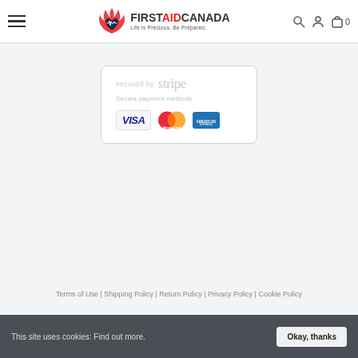[Figure (logo): First Aid Canada logo with flame and heart icon, tagline: Life is Precious. Be Prepared.]
[Figure (infographic): Secured by Stripe badge showing Visa, MasterCard, and American Express payment logos with text 'Secure payment methods']
Terms of Use | Shipping Policy | Return Policy | Privacy Policy | Cookie Policy
This site uses cookies: Find out more.